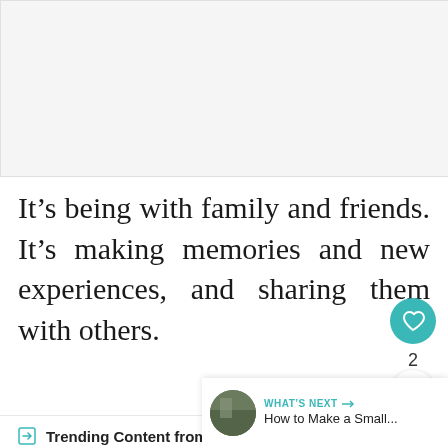[Figure (photo): Light grey placeholder image area at top of page]
It’s being with family and friends. It’s making memories and new experiences, and sharing them with others.
Trending Content from Love Chic Living
WHAT’S NEXT → How to Make a Small...